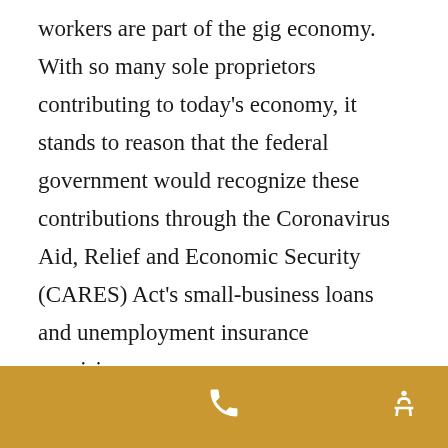workers are part of the gig economy. With so many sole proprietors contributing to today's economy, it stands to reason that the federal government would recognize these contributions through the Coronavirus Aid, Relief and Economic Security (CARES) Act's small-business loans and unemployment insurance provisions.
Retirement planning can be difficult when you work for yourself, especially when it comes to